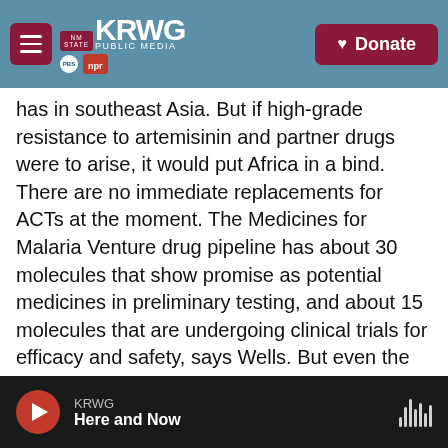KRWG PUBLIC MEDIA | Donate
has in southeast Asia. But if high-grade resistance to artemisinin and partner drugs were to arise, it would put Africa in a bind. There are no immediate replacements for ACTs at the moment. The Medicines for Malaria Venture drug pipeline has about 30 molecules that show promise as potential medicines in preliminary testing, and about 15 molecules that are undergoing clinical trials for efficacy and safety, says Wells. But even the drugs that are at the end of the pipeline will take about five to six years from approval by regulatory authorities to be incorporated into WHO guidelines, he notes — if they make it through trials at all.
KRWG | Here and Now